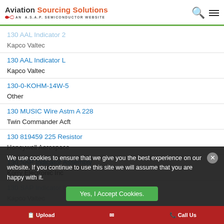Aviation Sourcing Solutions — AN A.S.A.P. SEMICONDUCTOR WEBSITE
130 AAL Indicator 2 / Kapco Valtec
130 AAL Indicator L / Kapco Valtec
130-0-KOHM-14W-5 / Other
130 MUSIC Wire Astm A 228 / Twin Commander Acft
130 819459 225 Resistor / Honeywell Aerospace
130 SAP Indicator Assembly / Korry Electronic Inc
130 SAP Indicator L / Kapco Valtec
130 OS Indicator L / Kapco Valtec
We use cookies to ensure that we give you the best experience on our website. If you continue to use this site we will assume that you are happy with it.